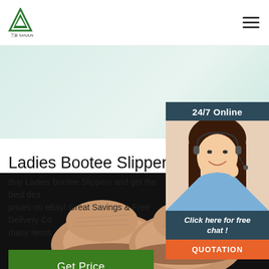三新 SANJUN logo and navigation hamburger menu
[Figure (photo): Light green/teal gradient banner background]
[Figure (photo): 24/7 Online chat widget with a woman wearing a headset, smiling. Overlaid on right side. Contains '24/7 Online', 'Click here for free chat!', and a QUOTATION button.]
Ladies Bootee Slippers for s
Buy Ladies Bootee Slippers and get the best dea prices on eBay! Great Savings & Free Delivery Co many items
Get Price
[Figure (photo): Top-down view of ladies bootee slippers (pinkish-tan color) on a black background]